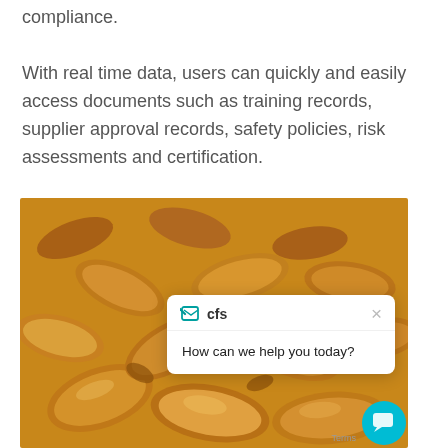compliance.
With real time data, users can quickly and easily access documents such as training records, supplier approval records, safety policies, risk assessments and certification.
[Figure (photo): Close-up photograph of almonds piled together, golden-brown color]
How can we help you today?